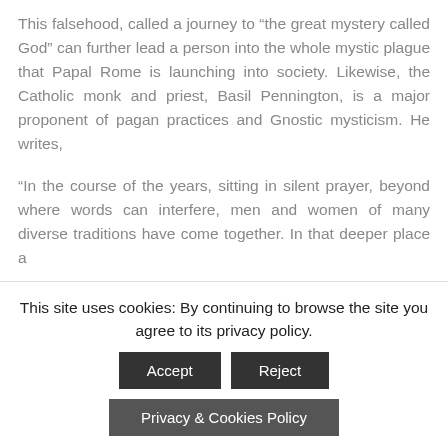This falsehood, called a journey to “the great mystery called God” can further lead a person into the whole mystic plague that Papal Rome is launching into society. Likewise, the Catholic monk and priest, Basil Pennington, is a major proponent of pagan practices and Gnostic mysticism. He writes,
“In the course of the years, sitting in silent prayer, beyond where words can interfere, men and women of many diverse traditions have come together. In that deeper place a
This site uses cookies: By continuing to browse the site you agree to its privacy policy. [Accept] [Reject] [Privacy & Cookies Policy]